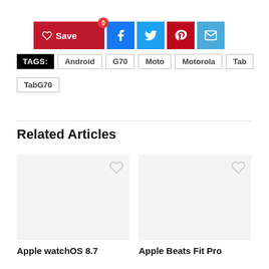[Figure (screenshot): Share/save button bar with Save (red), Facebook (blue), Twitter (light blue), Pinterest (red), and Email (teal) icon buttons]
TAGS: Android G70 Moto Motorola Tab TabG70
Related Articles
[Figure (screenshot): Article card for 'Apple watchOS 8.7' with heart/save icon and placeholder image area]
[Figure (screenshot): Article card for 'Apple Beats Fit Pro' with heart/save icon and placeholder image area]
Apple watchOS 8.7
Apple Beats Fit Pro